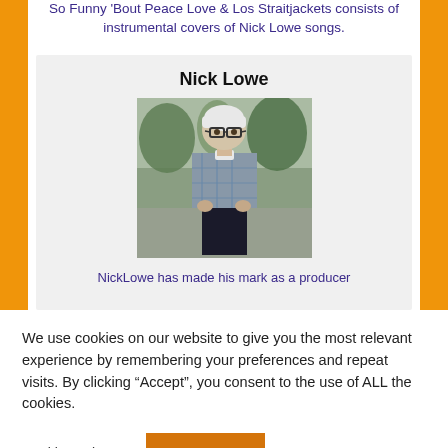So Funny 'Bout Peace Love & Los Straitjackets consists of instrumental covers of Nick Lowe songs.
Nick Lowe
[Figure (photo): Photo of Nick Lowe, an older man with white hair and glasses, wearing a plaid flannel shirt, standing outdoors on a street.]
NickLowe has made his mark as a producer
We use cookies on our website to give you the most relevant experience by remembering your preferences and repeat visits. By clicking "Accept", you consent to the use of ALL the cookies.
Cookie settings
ACCEPT